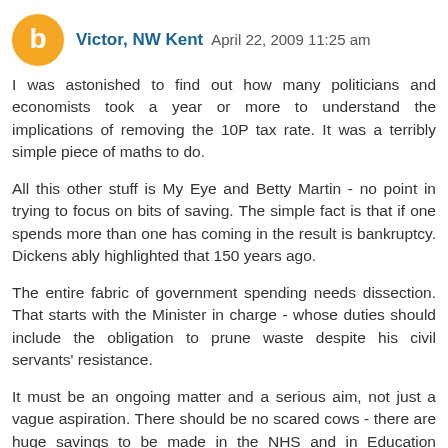Victor, NW Kent  April 22, 2009 11:25 am
I was astonished to find out how many politicians and economists took a year or more to understand the implications of removing the 10P tax rate. It was a terribly simple piece of maths to do.
All this other stuff is My Eye and Betty Martin - no point in trying to focus on bits of saving. The simple fact is that if one spends more than one has coming in the result is bankruptcy. Dickens ably highlighted that 150 years ago.
The entire fabric of government spending needs dissection. That starts with the Minister in charge - whose duties should include the obligation to prune waste despite his civil servants' resistance.
It must be an ongoing matter and a serious aim, not just a vague aspiration. There should be no scared cows - there are huge savings to be made in the NHS and in Education without affecting quality or quantity of delivery. It is axiomatic that the largest departments have the largest